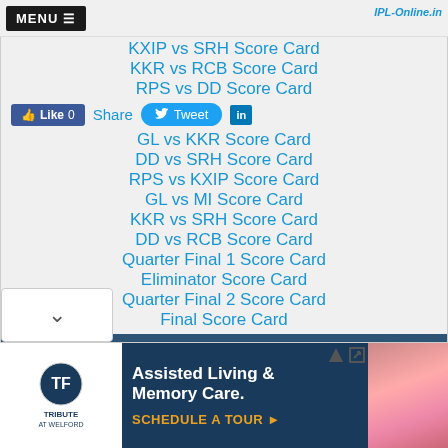KXIP vs SRH Score Card
KKR vs RCB Score Card
RPS vs DD Score Card
Share  Tweet
GL vs KKR Score Card
DD vs SRH Score Card
RPS vs KXIP Score Card
GL vs MI Score Card
KKR vs SRH Score Card
DD vs RCB Score Card
Quarter Final 1 Score Card
Eliminator Score Card
Quarter Final 2 Score Card
Final Score Card
IPL Schedule 2016
MI vs RPS Schedule
KKR vs DD Schedule
[Figure (screenshot): Advertisement banner for Tribute at Welford Assisted Living & Memory Care with SCHEDULE A TOUR call-to-action]